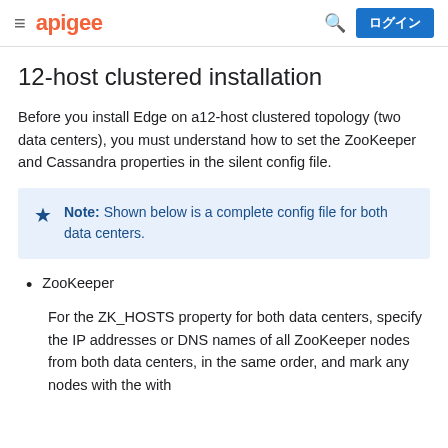apigee  ログイン
12-host clustered installation
Before you install Edge on a12-host clustered topology (two data centers), you must understand how to set the ZooKeeper and Cassandra properties in the silent config file.
Note: Shown below is a complete config file for both data centers.
ZooKeeper
For the ZK_HOSTS property for both data centers, specify the IP addresses or DNS names of all ZooKeeper nodes from both data centers, in the same order, and mark any nodes with the with